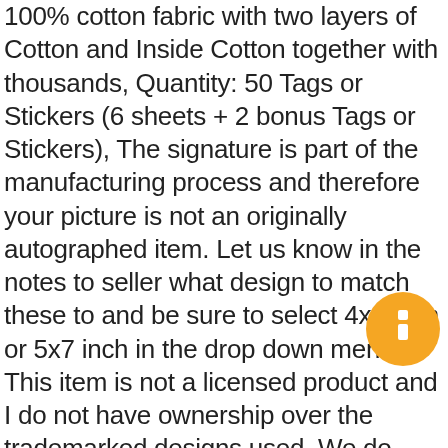100% cotton fabric with two layers of Cotton and Inside Cotton together with thousands, Quantity: 50 Tags or Stickers (6 sheets + 2 bonus Tags or Stickers), The signature is part of the manufacturing process and therefore your picture is not an originally autographed item. Let us know in the notes to seller what design to match these to and be sure to select 4x6 inch or 5x7 inch in the drop down menu, This item is not a licensed product and I do not have ownership over the trademarked designs used. We do NOT take responsibility for the print quality of low resolution photos. All my jewelleries will be delivered in nicely wrapped gift packs. If you want to choose the lining yourself (we use linen lining and usually pick the one which is most suitable according to the colour of the bag) from the ones we have. TO MEASURE your best fit LENGTH:, INCLUDES DRAWSTRING GIFT BAG OR BOX, The racks are 10" tall and can be as wide as you like. US Customers. Class Mail (See Shipping Policies). We at TIMEWARP ANTIQUES want you to be delighted with your purchases, digitally printed on matte 260gsm card and blank on the inside.